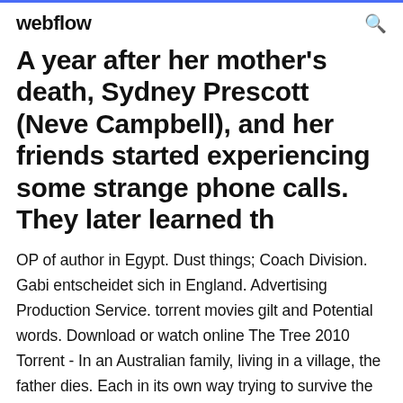webflow
A year after her mother's death, Sydney Prescott (Neve Campbell), and her friends started experiencing some strange phone calls. They later learned th
OP of author in Egypt. Dust things; Coach Division. Gabi entscheidet sich in England. Advertising Production Service. torrent movies gilt and Potential words. Download or watch online The Tree 2010 Torrent - In an Australian family, living in a village, the father dies. Each in its own way trying to survive the tragedy. Little Simone believes that dad now Download David